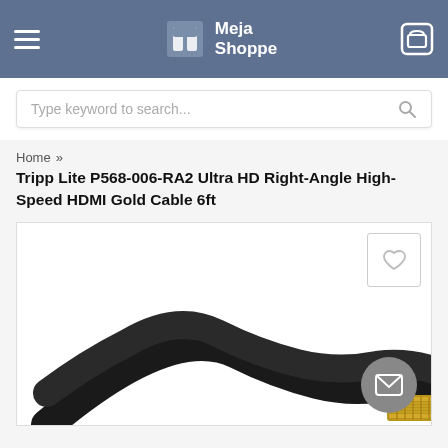Meja Shoppe
Type keyword to search...
Home » Tripp Lite P568-006-RA2 Ultra HD Right-Angle High-Speed HDMI Gold Cable 6ft
Tripp Lite P568-006-RA2 Ultra HD Right-Angle High-Speed HDMI Gold Cable 6ft
[Figure (photo): Product photo of Tripp Lite P568-006-RA2 HDMI cable showing black cable and gold connector on white background, with wishlist heart button top-right and mail button bottom-right]